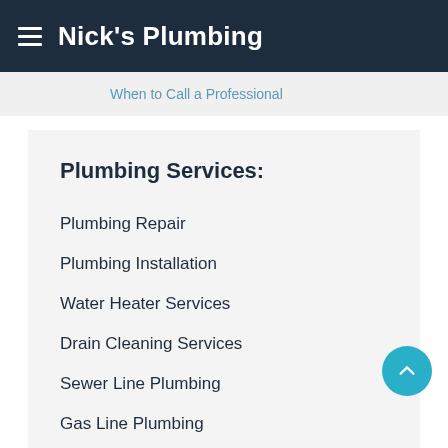Nick's Plumbing
When to Call a Professional
Plumbing Services:
Plumbing Repair
Plumbing Installation
Water Heater Services
Drain Cleaning Services
Sewer Line Plumbing
Gas Line Plumbing